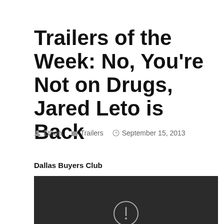Trailers of the Week: No, You're Not on Drugs, Jared Leto is Back
Ethan   Trailers   September 15, 2013
Dallas Buyers Club
[Figure (screenshot): Embedded video player showing 'Video unavailable / This video is unavailable' error message on a dark background]